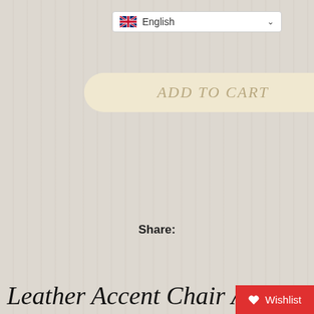[Figure (screenshot): Language selector dropdown showing UK flag and 'English' with chevron]
[Figure (screenshot): Beige rounded 'ADD TO CART' button]
[Figure (screenshot): Add to Wishlist button with heart icon]
Share:
[Figure (screenshot): Social share buttons: Facebook Share, Twitter Tweet, Pinterest Pin it]
Leather Accent Chair Arm Chair with Extra-Thick Padded Backrest and Seat Cushion
[Figure (screenshot): Chat with us bubble overlay]
[Figure (screenshot): Red Wishlist badge at bottom right]